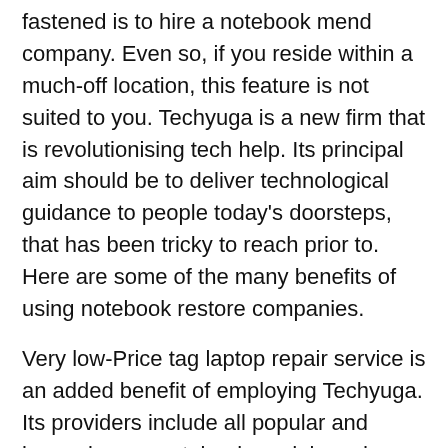fastened is to hire a notebook mend company. Even so, if you reside within a much-off location, this feature is not suited to you. Techyuga is a new firm that is revolutionising tech help. Its principal aim should be to deliver technological guidance to people today's doorsteps, that has been tricky to reach prior to. Here are some of the many benefits of using notebook restore companies.
Very low-Price tag laptop repair service is an added benefit of employing Techyuga. Its providers include all popular and lesser-known notebook models and products. These professionals also present expert services including procedure updates, driver installations, and OS re-installation. Guarantee updates and extensions may also be out there. The service is on the market in Kolkata. It's in excess of ten thousand happy shoppers in town. So, you don't have to worry about your laptop computer anymore.
Totally free Door-action delivery is another good thing about utilizing Techyuga. It is possible to choose the notebook